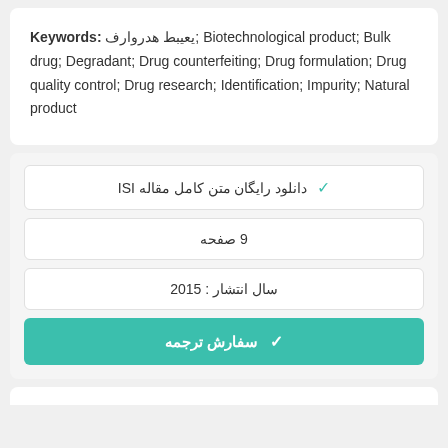Keywords: فراورده طبیعی; Biotechnological product; Bulk drug; Degradant; Drug counterfeiting; Drug formulation; Drug quality control; Drug research; Identification; Impurity; Natural product
✓ دانلود رایگان متن کامل مقاله ISI
9 صفحه
سال انتشار : 2015
✓ سفارش ترجمه